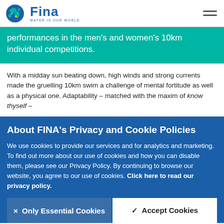FINA — WATER IS OUR WORLD
performances in the men's and women's 10km individual competitions.
With a midday sun beating down, high winds and strong currents made the gruelling 10km swim a challenge of mental fortitude as well as a physical one. Adaptability – matched with the maxim of know thyself –
About FINA's Privacy and Cookie Policies
We use cookies to provide our services and for analytics and marketing. To find out more about our use of cookies and how you can disable them, please see our Privacy Policy. By continuing to browse our website, you agree to our use of cookies. Click here to read our privacy policy.
× Only Essential Cookies
✓ Accept Cookies